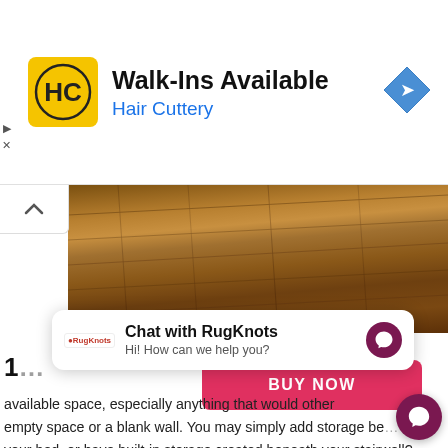[Figure (screenshot): Hair Cuttery advertisement banner. Shows HC logo in yellow square, text 'Walk-Ins Available' in bold black and 'Hair Cuttery' in blue, with a blue diamond navigation icon on the right.]
[Figure (photo): Close-up photo of wood flooring with diagonal grain pattern in warm brown tones.]
[Figure (screenshot): Red 'BUY NOW' button on white background.]
available space, especially anything that would other empty space or a blank wall. You may simply add storage be... your bed, or have built-in storage created beneath your stairwell?
[Figure (screenshot): Chat widget: 'Chat with RugKnots' with RugKnots logo, sub-text 'Hi! How can we help you?' and a dark pink messenger icon button.]